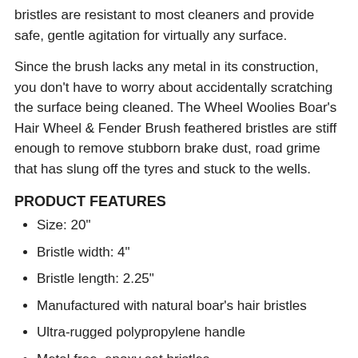bristles are resistant to most cleaners and provide safe, gentle agitation for virtually any surface.
Since the brush lacks any metal in its construction, you don't have to worry about accidentally scratching the surface being cleaned. The Wheel Woolies Boar's Hair Wheel & Fender Brush feathered bristles are stiff enough to remove stubborn brake dust, road grime that has slung off the tyres and stuck to the wells.
PRODUCT FEATURES
Size: 20"
Bristle width: 4"
Bristle length: 2.25"
Manufactured with natural boar's hair bristles
Ultra-rugged polypropylene handle
Metal free, epoxy set bristles